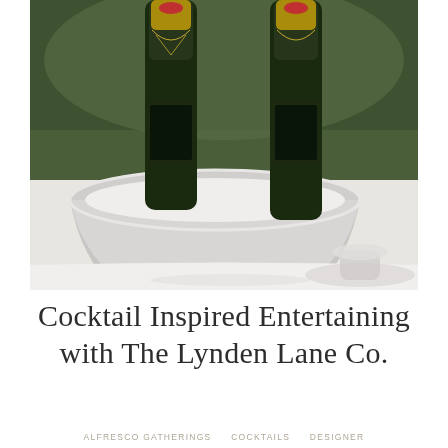[Figure (photo): Close-up photograph of two champagne bottles (Moët & Chandon) chilling in a silver ice bucket on a white-tablecloth table, with a crystal glass base visible in the foreground and greenery blurred in the background.]
Cocktail Inspired Entertaining with The Lynden Lane Co.
ALFRESCO GATHERINGS   COCKTAILS   DESIGNER